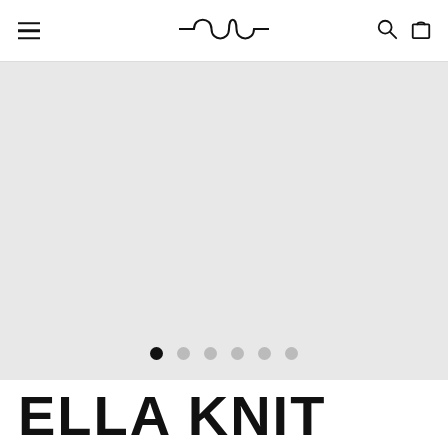Navigation header with hamburger menu, brand logo, search and cart icons
[Figure (photo): Light gray product image placeholder area with carousel dot indicators showing 6 dots, first dot active]
ELLA KNIT